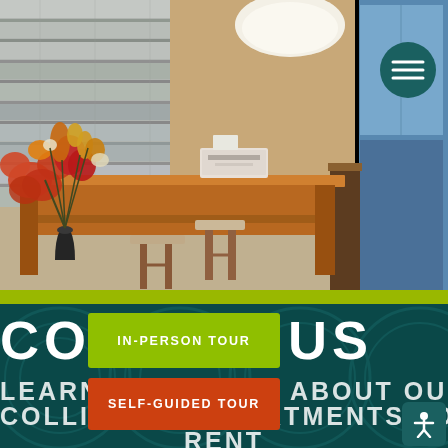[Figure (photo): Interior photo of an apartment common area or leasing office with a wooden desk/counter, a vase with orange and red flowers, gray wood-plank wall, tan wall, a blue window on the right, stools, and a printer on the counter. A hamburger menu button appears in the top right corner.]
IN-PERSON TOUR
SELF-GUIDED TOUR
CONTACT US
LEARN MORE ABOUT OUR FORT COLLINS, CO APARTMENTS FOR RENT